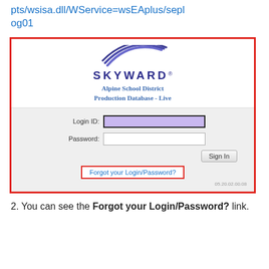pts/wsisa.dll/WService=wsEAplus/seplog01
[Figure (screenshot): Skyward login page for Alpine School District Production Database - Live, showing Login ID field (highlighted in purple), Password field, Sign In button, and Forgot your Login/Password? link highlighted with a red border. Version 05.20.02.00.08 visible. The screenshot itself is surrounded by a red border.]
2. You can see the Forgot your Login/Password? link.